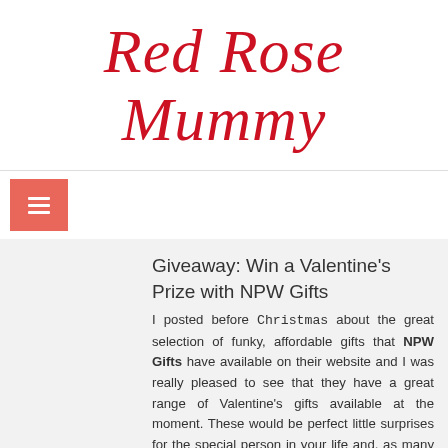Red Rose Mummy
Giveaway: Win a Valentine's Prize with NPW Gifts
I posted before Christmas about the great selection of funky, affordable gifts that NPW Gifts have available on their website and I was really pleased to see that they have a great range of Valentine's gifts available at the moment. These would be perfect little surprises for the special person in your life and, as many of the gifts are beauty-related, would be a lovely way of making yourself feel special before that special Valentine's night out.